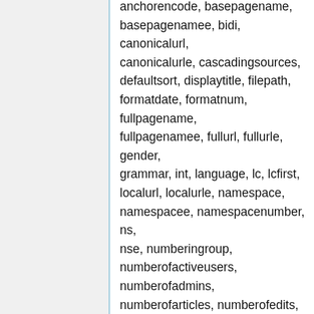anchorencode, basepagenamee, bidi, canonicalurl, canonicalurle, cascadingsources, defaultsort, displaytitle, filepath, formatdate, formatnum, fullpagename, fullpagenamee, fullurl, fullurle, gender, grammar, int, language, lc, lcfirst, localurl, localurle, namespace, namespacee, namespacenumber, ns, nse, numberingroup, numberofactiveusers, numberofadmins, numberofarticles, numberofedits, numberoffiles, numberofpages, numberofusers, padleft, padright, pageid, pagename, pagenamee, pagesincategory, pagesize, plural, protectionexpiry, protectionlevel, revisionday, revisionday2, revisionid, revisionmonth, revisionmonth1, revisiontimestamp, revisionuser, revisionyear, rootpagename,